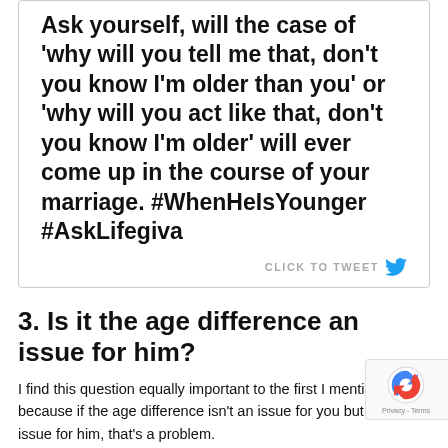Ask yourself, will the case of 'why will you tell me that, don't you know I'm older than you' or 'why will you act like that, don't you know I'm older' will ever come up in the course of your marriage. #WhenHeIsYounger #AskLifegiva
3. Is it the age difference an issue for him?
I find this question equally important to the first I mentioned because if the age difference isn't an issue for you but it is an issue for him, that's a problem.